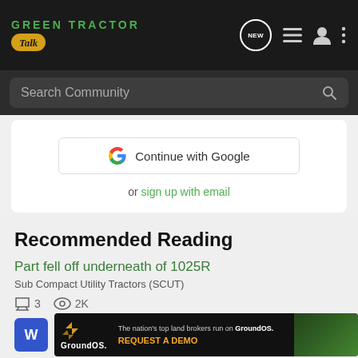Green Tractor Talk — navigation bar with logo, NEW button, list icon, user icon, menu icon
Search Community
[Figure (screenshot): Continue with Google button]
or sign up with email
Recommended Reading
Part fell off underneath of 1025R
Sub Compact Utility Tractors (SCUT)
3  2K
[Figure (screenshot): GroundOS advertisement banner: The nation's top land brokers run on GroundOS. REQUEST A DEMO]